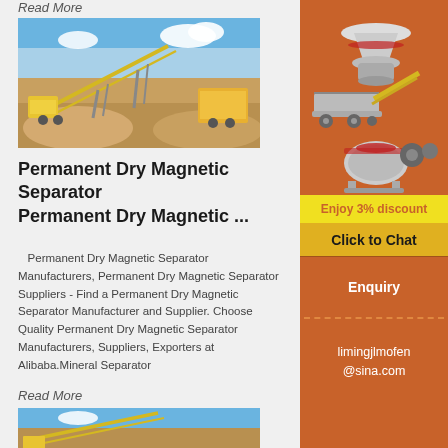Read More
[Figure (photo): Conveyor belt / mineral processing plant equipment at a mining site with sandy terrain and blue sky]
Permanent Dry Magnetic Separator Permanent Dry Magnetic ...
Permanent Dry Magnetic Separator Manufacturers, Permanent Dry Magnetic Separator Suppliers - Find a Permanent Dry Magnetic Separator Manufacturer and Supplier. Choose Quality Permanent Dry Magnetic Separator Manufacturers, Suppliers, Exporters at Alibaba.Mineral Separator
Read More
[Figure (photo): Conveyor belt / mineral processing equipment at a mining site]
[Figure (illustration): Orange sidebar with illustrations of mining/crushing machinery (cone crusher, conveyor, ball mill)]
Enjoy 3% discount
Click to Chat
Enquiry
limingjlmofen@sina.com